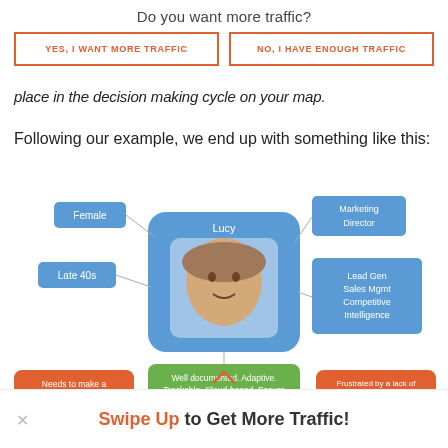Do you want more traffic?
YES, I WANT MORE TRAFFIC
NO, I HAVE ENOUGH TRAFFIC
place in the decision making cycle on your map.
Following our example, we end up with something like this:
[Figure (infographic): Mind map / persona diagram showing 'Lucy' at center (a photo of a middle-aged woman) with connected labels: Female, Late 40s, Marketing Director, Lead Gen Sales Mgmt Competitive Intelligence, Well documented. Adaptive. Trackable. Cloud-based. Secure, Needs to make a decision now, Frustrated by a lack of third party tool integrations]
Swipe Up to Get More Traffic!